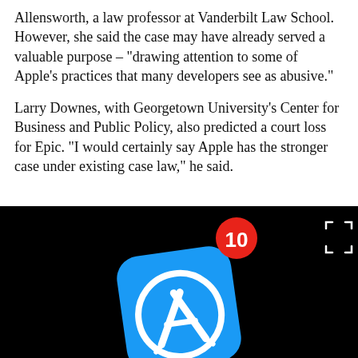Allensworth, a law professor at Vanderbilt Law School. However, she said the case may have already served a valuable purpose – "drawing attention to some of Apple's practices that many developers see as abusive."
Larry Downes, with Georgetown University's Center for Business and Public Policy, also predicted a court loss for Epic. “I would certainly say Apple has the stronger case under existing case law,” he said.
[Figure (photo): Dark background video thumbnail showing the Apple App Store icon (blue rounded square with white circle and white letter A compass/pen tool symbol) with a red notification badge showing the number 10. A fullscreen expand icon is visible in the top-right corner.]